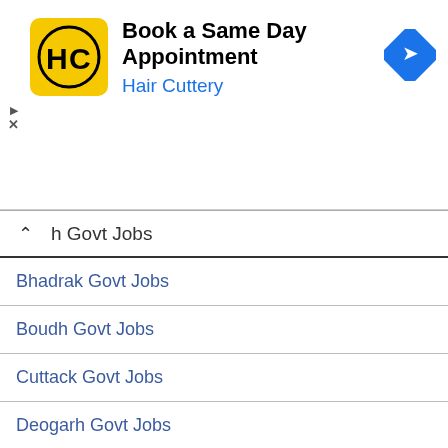[Figure (infographic): Advertisement banner for Hair Cuttery: Book a Same Day Appointment, with HC logo and navigation arrow icon]
h Govt Jobs
Bhadrak Govt Jobs
Boudh Govt Jobs
Cuttack Govt Jobs
Deogarh Govt Jobs
Dhenkanal Govt Jobs
Gajapati Govt Jobs
Ganjam Govt Jobs
Jagatsinghpur Govt Jobs
Jajpur Govt Jobs